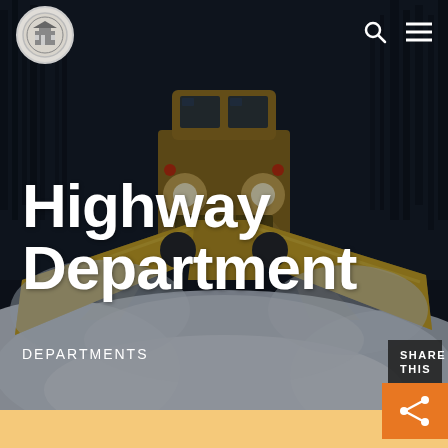[Figure (photo): A yellow snow plow truck with V-shaped plow blade extended, photographed at night pushing snow on a dark road surrounded by trees. The scene is dark with the truck's headlights illuminated.]
Highway Department - navigation header with logo and search/menu icons
Highway Department
DEPARTMENTS
SHARE THIS